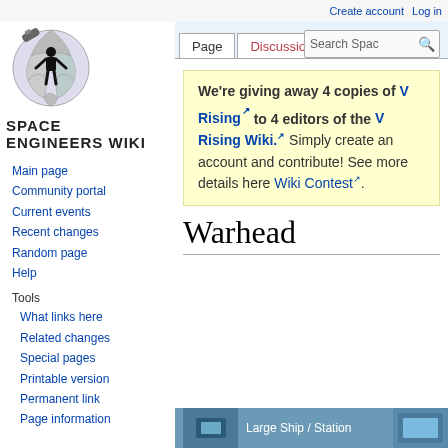Create account  Log in
[Figure (logo): Space Engineers Wiki logo — puzzle-globe with silhouette figure and SPACE ENGINEERS WIKI text]
Main page
Community portal
Current events
Recent changes
Random page
Help
Tools
What links here
Related changes
Special pages
Printable version
Permanent link
Page information
We're giving away 4 copies of V Rising to 4 editors of the V Rising Wiki. Simply create an account and contribute! See more details here Wiki Contest.
Warhead
Large Ship / Station